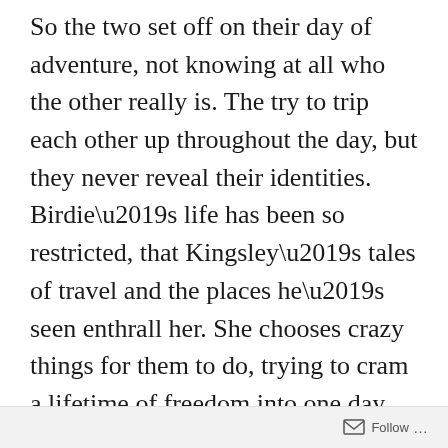So the two set off on their day of adventure, not knowing at all who the other really is.  The try to trip each other up throughout the day, but they never reveal their identities.  Birdie’s life has been so restricted, that Kingsley’s tales of travel and the places he’s seen enthrall her.  She chooses crazy things for them to do, trying to cram a lifetime of freedom into one day.  Kinglsey has always found her attractive, but now he finds her quite loveable as well.
Each moment they spend together finds them becoming closer and fonder of each other.  Soon
Follow